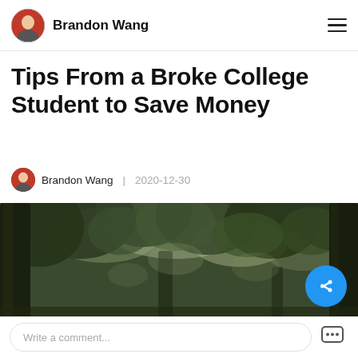Brandon Wang
Tips From a Broke College Student to Save Money
Brandon Wang | 2020-12-30
[Figure (photo): Outdoor photo looking up through large tree canopy with green leaves against a bright sky, dark tree trunks visible on the sides]
Write a comment...